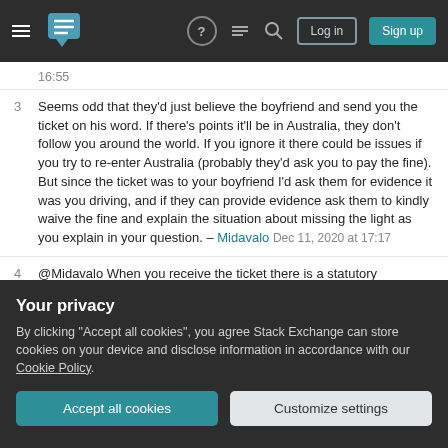Stack Exchange navigation bar with hamburger menu, logo, help, chat, search, Log in and Sign up buttons
16:55
3 Seems odd that they'd just believe the boyfriend and send you the ticket on his word. If there's points it'll be in Australia, they don't follow you around the world. If you ignore it there could be issues if you try to re-enter Australia (probably they'd ask you to pay the fine). But since the ticket was to your boyfriend I'd ask them for evidence it was you driving, and if they can provide evidence ask them to kindly waive the fine and explain the situation about missing the light as you explain in your question. – Midavalo Dec 11, 2020 at 17:17
4 @Midavalo When you receive the ticket there is a statutory declaration you can sign stating that you were
Your privacy
By clicking "Accept all cookies", you agree Stack Exchange can store cookies on your device and disclose information in accordance with our Cookie Policy.
Accept all cookies  Customize settings
although it may take saving up again. If you have any